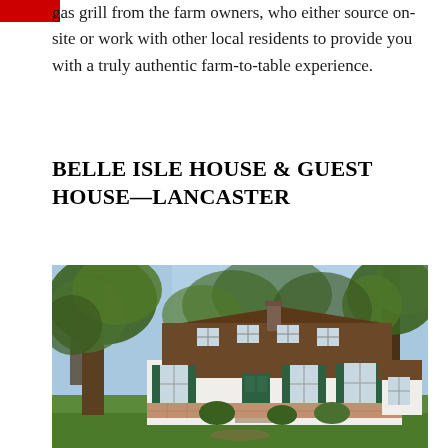gas grill from the farm owners, who either source on-site or work with other local residents to provide you with a truly authentic farm-to-table experience.
BELLE ISLE HOUSE & GUEST HOUSE—LANCASTER
[Figure (photo): Exterior photograph of Belle Isle House, a colonial-style home with brown shingled upper story and white lower story, green shutters and front door, surrounded by large trees and a green lawn.]